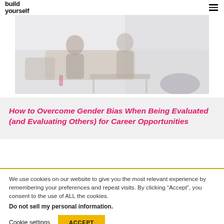build yourself
[Figure (photo): Photo of people sitting and talking in a modern office or lounge area, muted/faded appearance]
How to Overcome Gender Bias When Being Evaluated (and Evaluating Others) for Career Opportunities
We use cookies on our website to give you the most relevant experience by remembering your preferences and repeat visits. By clicking “Accept”, you consent to the use of ALL the cookies.
Do not sell my personal information.
Cookie settings   ACCEPT